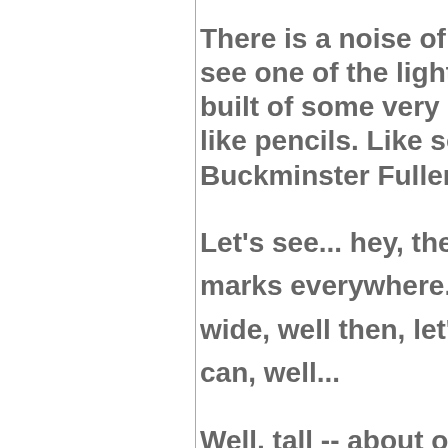There is a noise of som see one of the light tow built of some very nar like pencils. Like some Buckminster Fuller's s
Let's see... hey, there a marks everywhere. If wide, well then, let's se can, well...
Well, tall -- about or le But?... Well, I got a gli